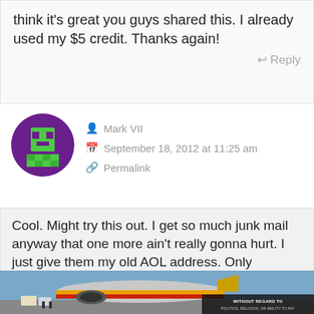think it's great you guys shared this. I already used my $5 credit. Thanks again!
Reply
[Figure (illustration): Purple circle avatar with green pixel-art character icon]
Mark VII
September 18, 2012 at 11:25 am
Permalink
Cool. Might try this out. I get so much junk mail anyway that one more ain't really gonna hurt. I just give them my old AOL address. Only important ppl get the Gmail one.
[Figure (photo): Advertisement banner showing cargo airplane being loaded, with overlay text 'WITHOUT REGARD TO POLITICS, RELIGION, OR ABILITY TO PAY']